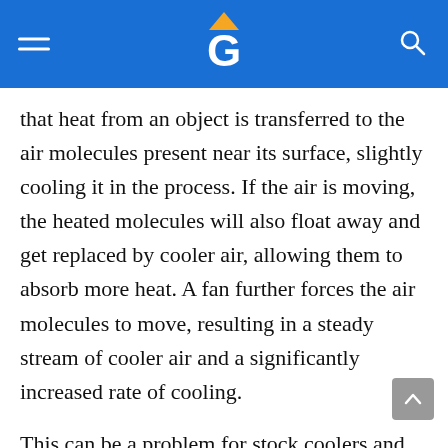[Navigation header with logo, hamburger menu, and search icon]
that heat from an object is transferred to the air molecules present near its surface, slightly cooling it in the process. If the air is moving, the heated molecules will also float away and get replaced by cooler air, allowing them to absorb more heat. A fan further forces the air molecules to move, resulting in a steady stream of cooler air and a significantly increased rate of cooling.
This can be a problem for stock coolers and entry-level coolers. Hopefully, the aforementioned reviews will help you find the best CPU cooler. Along with being excellent choices for the 8700k,